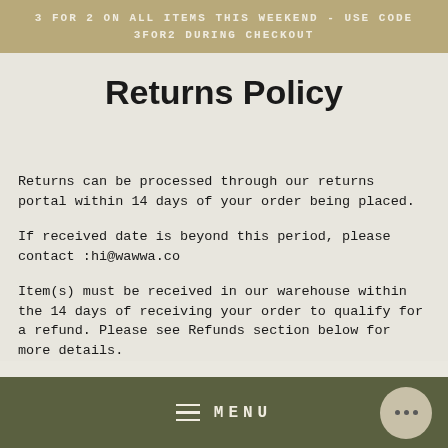3 FOR 2 ON ALL ITEMS THIS WEEKEND - USE CODE 3FOR2 DURING CHECKOUT
Returns Policy
Returns can be processed through our returns portal within 14 days of your order being placed.
If received date is beyond this period, please contact :hi@wawwa.co
Item(s) must be received in our warehouse within the 14 days of receiving your order to qualify for a refund. Please see Refunds section below for more details.
Inside the returned package, customers must include a note with their order number/RMA number.